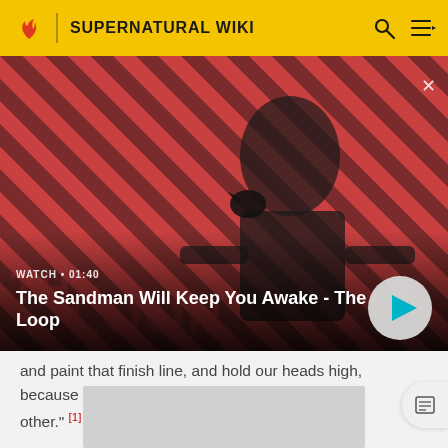SUPERNATURAL WIKI
[Figure (screenshot): Video thumbnail showing a man in a dark coat with a raven on his shoulder against a red and black diagonal striped background. Overlay text reads 'WATCH • 01:40' and 'The Sandman Will Keep You Awake - The Loop'. A play button is visible at bottom right. A close X at top right.]
and paint that finish line, and hold our heads high, because what we've accomplished is unlike any other." [1]
[Figure (other): Gray advertisement placeholder rectangle at bottom of page]